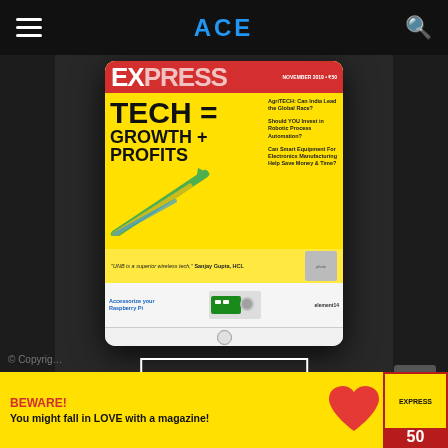ACE
[Figure (illustration): A tablet showing the cover of Express magazine with the headline TECH = GROWTH + PROFITS on a yellow background, with a green upward arrow chart graphic]
READ E-ZINE
[Figure (illustration): Yellow advertisement banner with red heart graphic and magazine image. Text: BEWARE! You might fall in LOVE with a magazine!]
© Copyright